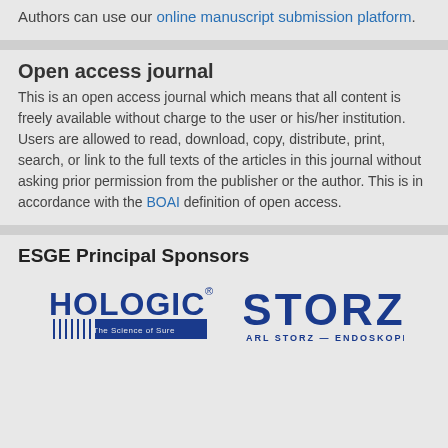Authors can use our online manuscript submission platform.
Open access journal
This is an open access journal which means that all content is freely available without charge to the user or his/her institution. Users are allowed to read, download, copy, distribute, print, search, or link to the full texts of the articles in this journal without asking prior permission from the publisher or the author. This is in accordance with the BOAI definition of open access.
ESGE Principal Sponsors
[Figure (logo): Hologic logo - The Science of Sure]
[Figure (logo): Karl Storz Endoskope logo]